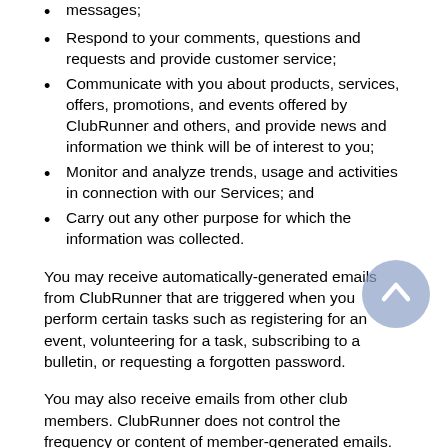messages;
Respond to your comments, questions and requests and provide customer service;
Communicate with you about products, services, offers, promotions, and events offered by ClubRunner and others, and provide news and information we think will be of interest to you;
Monitor and analyze trends, usage and activities in connection with our Services; and
Carry out any other purpose for which the information was collected.
You may receive automatically-generated emails from ClubRunner that are triggered when you perform certain tasks such as registering for an event, volunteering for a task, subscribing to a bulletin, or requesting a forgotten password.
You may also receive emails from other club members. ClubRunner does not control the frequency or content of member-generated emails. You have the option to